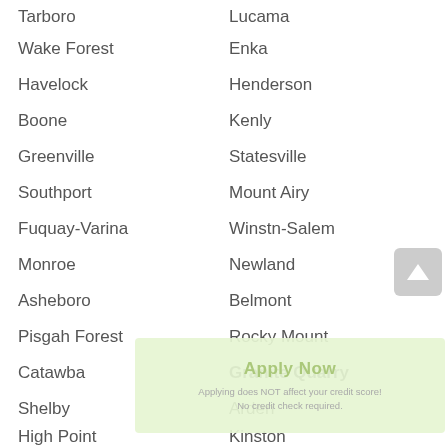Tarboro | Lucama
Wake Forest | Enka
Havelock | Henderson
Boone | Kenly
Greenville | Statesville
Southport | Mount Airy
Fuquay-Varina | Winstn-Salem
Monroe | Newland
Asheboro | Belmont
Pisgah Forest | Rocky Mount
Catawba | Granite Quarry
Shelby | Arden
High Point | Kinston
Apply Now
Applying does NOT affect your credit score!
No credit check required.